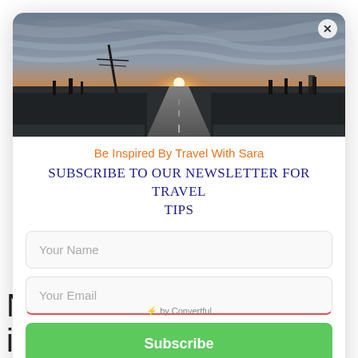your drive along Minnesota's
North Shore includes incredible
[Figure (photo): Panoramic sunset photo of a straight road stretching to the horizon with dramatic orange and grey sky, silhouetted utility poles and bare trees on both sides]
Be Inspired By Travel With Sara
Subscribe to our Newsletter for Travel Tips
Your Name
Your Email
Subscribe
⚡ by Convertful